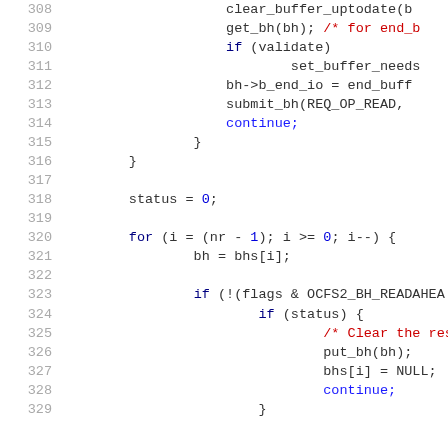[Figure (screenshot): Source code listing lines 308-329 in C, showing buffer I/O operations with syntax highlighting. Line numbers in gray on the left, keywords in dark blue, comments in red, control flow keywords in blue.]